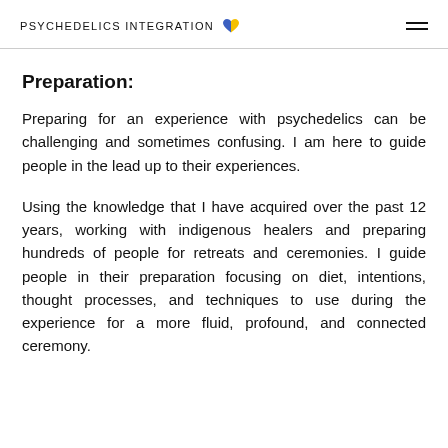PSYCHEDELICS INTEGRATION
Preparation:
Preparing for an experience with psychedelics can be challenging and sometimes confusing. I am here to guide people in the lead up to their experiences.
Using the knowledge that I have acquired over the past 12 years, working with indigenous healers and preparing hundreds of people for retreats and ceremonies. I guide people in their preparation focusing on diet, intentions, thought processes, and techniques to use during the experience for a more fluid, profound, and connected ceremony.